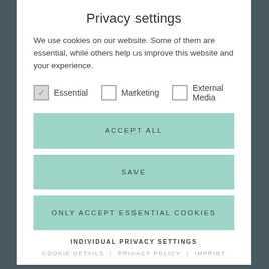Privacy settings
We use cookies on our website. Some of them are essential, while others help us improve this website and your experience.
Essential (checked), Marketing (unchecked), External Media (unchecked)
ACCEPT ALL
SAVE
ONLY ACCEPT ESSENTIAL COOKIES
INDIVIDUAL PRIVACY SETTINGS
COOKIE DETAILS | PRIVACY POLICY | IMPRINT